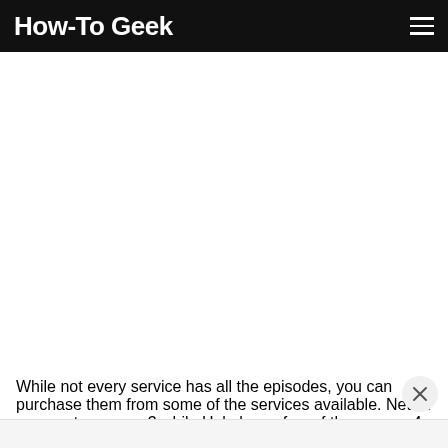How-To Geek
[Figure (other): White empty content area placeholder]
While not every service has all the episodes, you can purchase them from some of the services available. Netflix runs up to season 3 while Hulu has a few of the season 4 episodes available for you to watch. You can